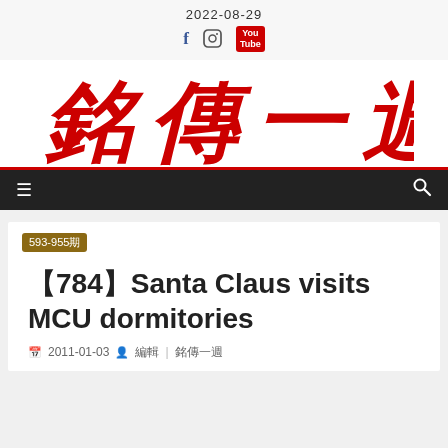2022-08-29
[Figure (logo): 銘傳一週 logo in red calligraphic Chinese characters]
593-955期
【784】Santa Claus visits MCU dormitories
2011-01-03  編輯 | 銘傳一週